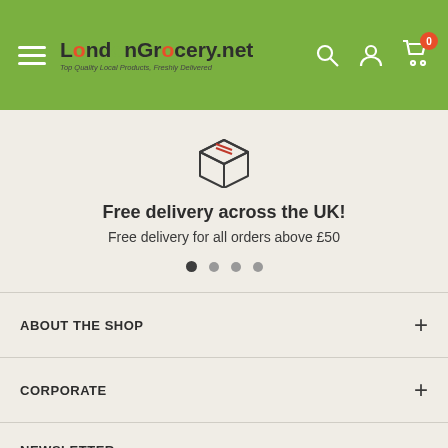LondonGrocery.net — Top Quality Local Products, Freshly Delivered
[Figure (illustration): Outline icon of a cardboard box/package]
Free delivery across the UK!
Free delivery for all orders above £50
ABOUT THE SHOP
CORPORATE
NEWSLETTER
Sign up to our newsletter and be the first to know our new products